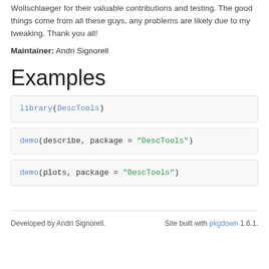Wollschlaeger for their valuable contributions and testing. The good things come from all these guys, any problems are likely due to my tweaking. Thank you all!
Maintainer: Andri Signorell
Examples
library(DescTools)
demo(describe, package = "DescTools")
demo(plots, package = "DescTools")
Developed by Andri Signorell.    Site built with pkgdown 1.6.1.